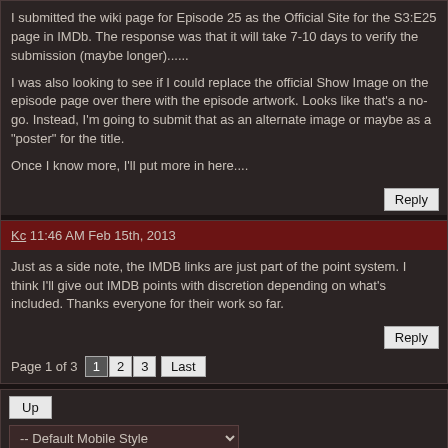I submitted the wiki page for Episode 25 as the Official Site for the S3:E25 page in IMDb. The response was that it will take 7-10 days to verify the submission (maybe longer)......
I was also looking to see if I could replace the official Show Image on the episode page over there with the episode artwork. Looks like that's a no-go. Instead, I'm going to submit that as an alternate image or maybe as a "poster" for the title.
Once I know more, I'll put more in here....
Reply
Kc 11:46 AM Feb 15th, 2013
Just as a side note, the IMDB links are just part of the point system. I think I'll give out IMDB points with discretion depending on what's included. Thanks everyone for their work so far.
Reply
Page 1 of 3  1  2  3  Last
Up
-- Default Mobile Style
Search